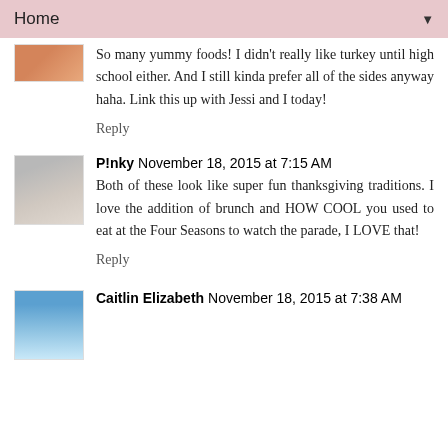Home ▼
So many yummy foods! I didn't really like turkey until high school either. And I still kinda prefer all of the sides anyway haha. Link this up with Jessi and I today!
Reply
P!nky November 18, 2015 at 7:15 AM
Both of these look like super fun thanksgiving traditions. I love the addition of brunch and HOW COOL you used to eat at the Four Seasons to watch the parade, I LOVE that!
Reply
Caitlin Elizabeth November 18, 2015 at 7:38 AM